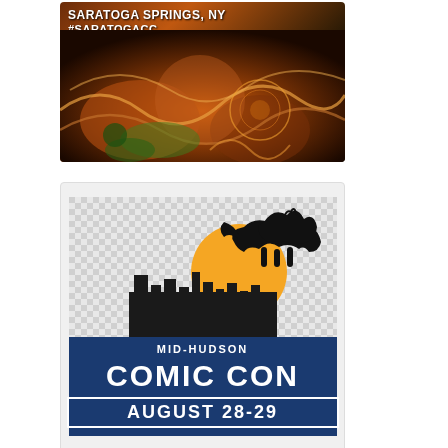[Figure (logo): Saratoga Springs NY comic convention logo with decorative psychedelic art background, text 'SARATOGA SPRINGS, NY' and '#SARATOGACC']
[Figure (logo): Mid-Hudson Comic Con logo with wolf silhouette on gold sun over city skyline, text 'MID-HUDSON COMIC CON AUGUST 28-29' on dark blue background]
[Figure (logo): Daytona Beach Comic Convention logo with blue text 'DAYTONA BEACH' and cyan text 'COMIC CONVENTION', decorated with gold stars above and below]
[Figure (logo): PEC Illinois logo on bright yellow background with bold black text 'PEC. ILLINOIS']